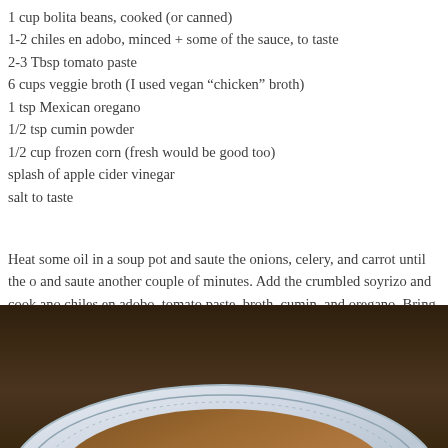1 cup bolita beans, cooked (or canned)
1-2 chiles en adobo, minced + some of the sauce, to taste
2-3 Tbsp tomato paste
6 cups veggie broth (I used vegan “chicken” broth)
1 tsp Mexican oregano
1/2 tsp cumin powder
1/2 cup frozen corn (fresh would be good too)
splash of apple cider vinegar
salt to taste
Heat some oil in a soup pot and saute the onions, celery, and carrot until the o and saute another couple of minutes. Add the crumbled soyrizo and cook ano chiles en adobo, tomato paste, broth, cumin, and oregano. Bring to a boil, ther 15-20 minutes, then add the corn and simmer another 5 minutes. Splash some necessary, add salt to taste. Serve with lime wedges.
[Figure (photo): A decorative bowl with scalloped blue-rimmed edges containing a bean and vegetable soup, photographed from above on a dark wooden surface.]